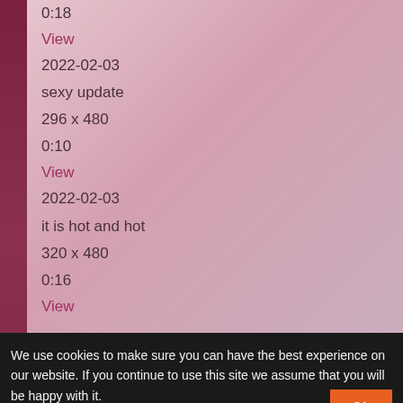0:18
View
2022-02-03
sexy update
296 x 480
0:10
View
2022-02-03
it is hot and hot
320 x 480
0:16
View
Privacy Policy
Terms & Conditions
Contact Us
We use cookies to make sure you can have the best experience on our website. If you continue to use this site we assume that you will be happy with it.